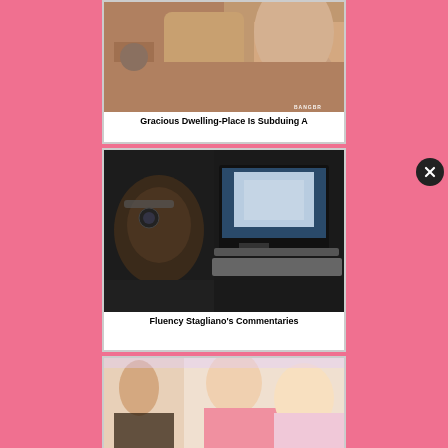[Figure (photo): A photograph with a watermark reading BANGBR in the lower right corner]
Gracious Dwelling-Place Is Subduing A
[Figure (photo): A photograph of a person sitting in front of a computer monitor in a dark room]
Fluency Stagliano's Commentaries
[Figure (photo): A photograph showing people, partially visible, with a colorful background]